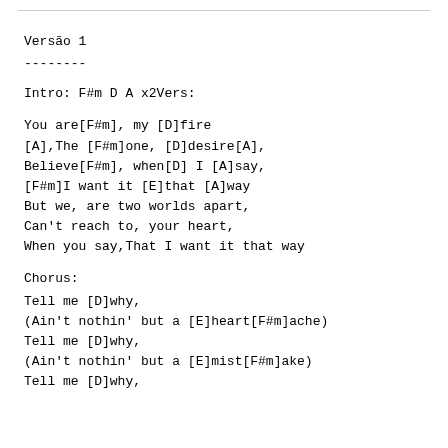Versão 1
--------
Intro: F#m D A x2Vers:
You are[F#m], my [D]fire
[A],The [F#m]one, [D]desire[A],
Believe[F#m], when[D] I [A]say,
[F#m]I want it [E]that [A]way
But we, are two worlds apart,
Can't reach to, your heart,
When you say,That I want it that way
Chorus:
Tell me [D]why,
(Ain't nothin' but a [E]heart[F#m]ache)
Tell me [D]why,
(Ain't nothin' but a [E]mist[F#m]ake)
Tell me [D]why,